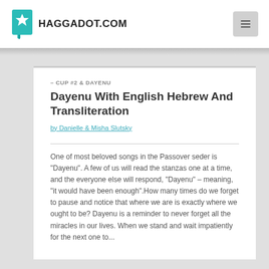HAGGADOT.COM
– CUP #2 & DAYENU
Dayenu With English Hebrew And Transliteration
by Danielle & Misha Slutsky
One of most beloved songs in the Passover seder is "Dayenu". A few of us will read the stanzas one at a time, and the everyone else will respond, "Dayenu" – meaning, "it would have been enough".How many times do we forget to pause and notice that where we are is exactly where we ought to be? Dayenu is a reminder to never forget all the miracles in our lives. When we stand and wait impatiently for the next one to...